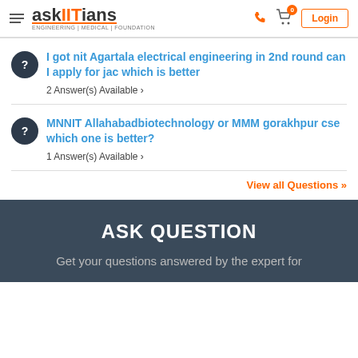askIITians ENGINEERING | MEDICAL | FOUNDATION
I got nit Agartala electrical engineering in 2nd round can I apply for jac which is better
2 Answer(s) Available >
MNNIT Allahabadbiotechnology or MMM gorakhpur cse which one is better?
1 Answer(s) Available >
View all Questions »
ASK QUESTION
Get your questions answered by the expert for